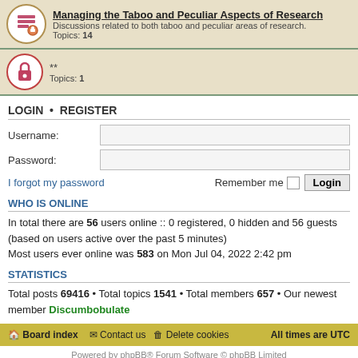Managing the Taboo and Peculiar Aspects of Research — Discussions related to both taboo and peculiar areas of research. Topics: 14
** Topics: 1
LOGIN • REGISTER
Username:
Password:
I forgot my password — Remember me — Login
WHO IS ONLINE
In total there are 56 users online :: 0 registered, 0 hidden and 56 guests (based on users active over the past 5 minutes)
Most users ever online was 583 on Mon Jul 04, 2022 2:42 pm
STATISTICS
Total posts 69416 • Total topics 1541 • Total members 657 • Our newest member Discumbobulate
Board index   Contact us   Delete cookies   All times are UTC
Powered by phpBB® Forum Software © phpBB Limited
Donate